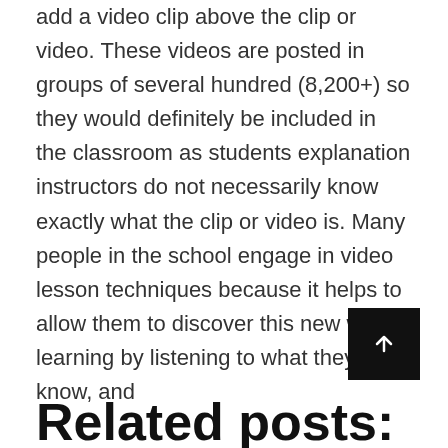add a video clip above the clip or video. These videos are posted in groups of several hundred (8,200+) so they would definitely be included in the classroom as students explanation instructors do not necessarily know exactly what the clip or video is. Many people in the school engage in video lesson techniques because it helps to allow them to discover this new way of learning by listening to what they know, and
Related posts: